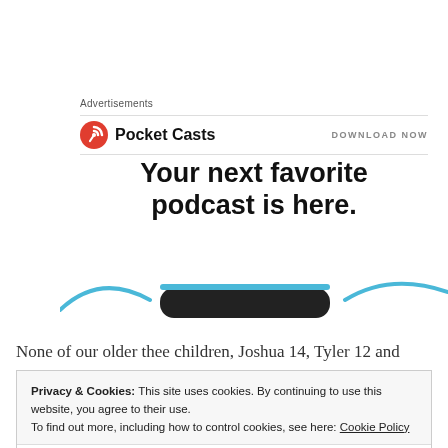Advertisements
[Figure (logo): Pocket Casts logo with red circular icon and bold text 'Pocket Casts', with 'DOWNLOAD NOW' on the right]
Your next favorite podcast is here.
[Figure (illustration): Partial illustration of a phone/device with blue curved lines suggesting podcast app UI]
None of our older thee children, Joshua 14, Tyler 12 and Emily 12 are super avid readers.  They each have gone
Privacy & Cookies: This site uses cookies. By continuing to use this website, you agree to their use.
To find out more, including how to control cookies, see here: Cookie Policy
Close and accept